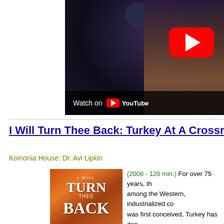[Figure (screenshot): YouTube video thumbnail showing a woman's face in dark setting with YouTube play button overlay and 'Watch on YouTube' bar at bottom]
I Will Turn Thee Back: Turkey At A Crossro...
Koinonia House: Dr. Avi Lipkin
[Figure (photo): Book cover for 'I Will Turn Thee Back' with orange/brown background]
(2008 - 120 min.) For over 75 years, th... among the Western, industrialized co... was first conceived, Turkey has don... version of a Western confederacy o...